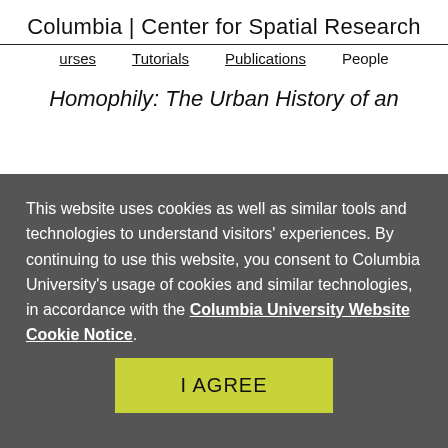Columbia | Center for Spatial Research
urses   Tutorials   Publications   People
Homophily: The Urban History of an
This website uses cookies as well as similar tools and technologies to understand visitors' experiences. By continuing to use this website, you consent to Columbia University's usage of cookies and similar technologies, in accordance with the Columbia University Website Cookie Notice.
I AGREE